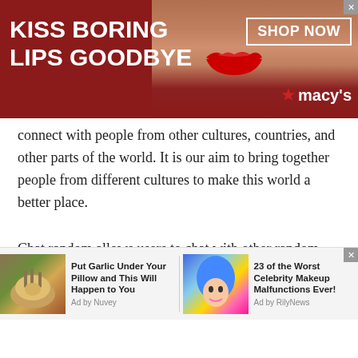[Figure (screenshot): Advertisement banner: red background with text 'KISS BORING LIPS GOODBYE', a woman's face with red lips in center, 'SHOP NOW' button, and Macy's logo on the right]
connect with people from other cultures, countries, and other parts of the world. It is our aim to bring together people from different cultures to make this world a better place.
Chat random allows users to chat with other random online users who use our site daily. This means you get to chat with a new face every time you use our chat random feature which makes it an excellent way of building new connections with a stranger who might share the same interests as you do. You could even chat with them about
[Figure (screenshot): Two advertisement items at the bottom: 1) 'Put Garlic Under Your Pillow and This Will Happen to You - Ad by Nuvey' with image of garlic/food; 2) '23 of the Worst Celebrity Makeup Malfunctions Ever! - Ad by RilyNews' with image of woman with blue hair]